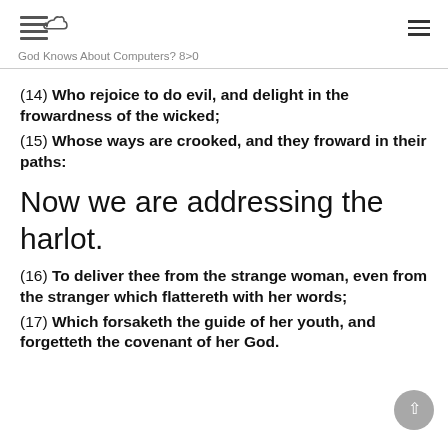God Knows About Computers? 8>0
(14) Who rejoice to do evil, and delight in the frowardness of the wicked;
(15) Whose ways are crooked, and they froward in their paths:
Now we are addressing the harlot.
(16) To deliver thee from the strange woman, even from the stranger which flattereth with her words;
(17) Which forsaketh the guide of her youth, and forgetteth the covenant of her God.